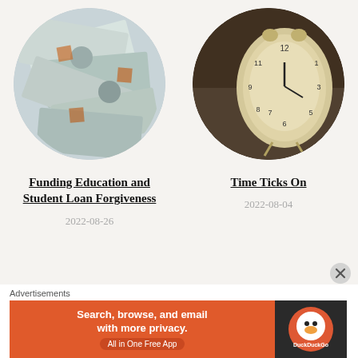[Figure (photo): Circular photo of US dollar bills spread out]
[Figure (photo): Circular photo of an old alarm clock on a surface]
Funding Education and Student Loan Forgiveness
2022-08-26
Time Ticks On
2022-08-04
Advertisements
[Figure (screenshot): DuckDuckGo advertisement banner: Search, browse, and email with more privacy. All in One Free App]